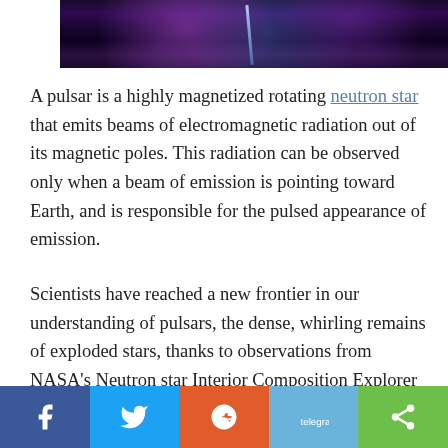[Figure (photo): Space/nebula image with purple and blue hues, showing stars and a light beam, cropped at top of page]
A pulsar is a highly magnetized rotating neutron star that emits beams of electromagnetic radiation out of its magnetic poles. This radiation can be observed only when a beam of emission is pointing toward Earth, and is responsible for the pulsed appearance of emission.
Scientists have reached a new frontier in our understanding of pulsars, the dense, whirling remains of exploded stars, thanks to observations from NASA’s Neutron star Interior Composition Explorer (NICER). Data from this X-ray telescope aboard the International Space Station has produced the first precise and dependable measurements of both a pulsar’s size and its mass.
[Figure (infographic): Social media sharing bar with Facebook, Twitter, Reddit, Telegram, and share buttons]